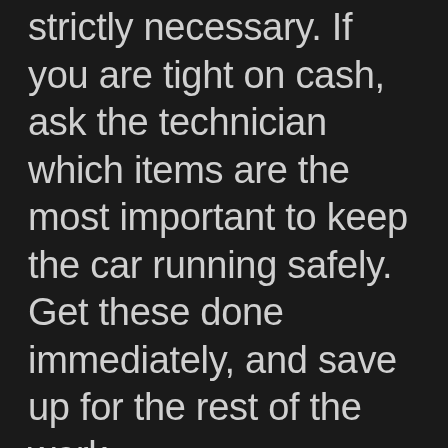strictly necessary. If you are tight on cash, ask the technician which items are the most important to keep the car running safely. Get these done immediately, and save up for the rest of the work.
You must wash your car to keep the rust away. Rust will happen, but you can slow things down by keeping the car clean. Protect your paint with good wax.